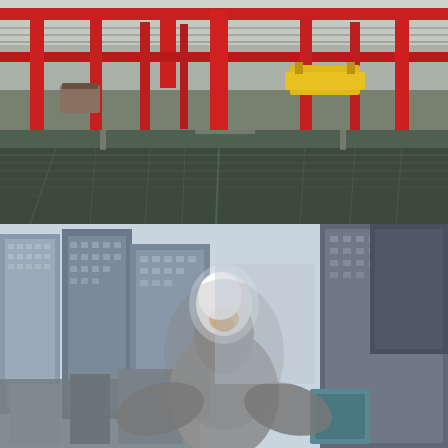[Figure (photo): Interior of a large industrial warehouse with red structural columns and overhead crane beams. The concrete floor is flooded with water creating a mirror-like reflection of the ceiling structure. A yellow overhead crane or equipment piece is visible in the background. The space appears vacant and abandoned.]
[Figure (photo): Aerial rooftop view of a dense urban cityscape, likely New York City, showing rows of skyscrapers and office buildings stretching into the distance. In the foreground, a large white and gray bird (possibly a seagull or pigeon) is perched very close to the camera, its back and head visible and slightly out of focus, dominating the lower center of the frame.]